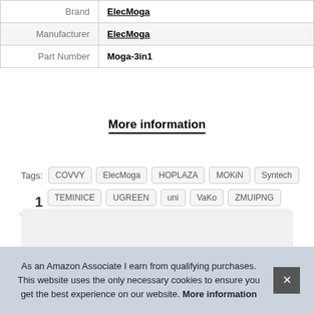|  |  |
| --- | --- |
| Brand | ElecMoga |
| Manufacturer | ElecMoga |
| Part Number | Moga-3in1 |
More information
Tags: COVVY ElecMoga HOPLAZA MOKiN Syntech TEMINICE UGREEN uni VaKo ZMUIPNG
As an Amazon Associate I earn from qualifying purchases. This website uses the only necessary cookies to ensure you get the best experience on our website. More information